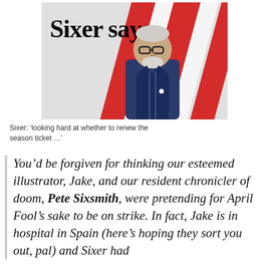[Figure (photo): Photo of Pete Sixsmith (Sixer) standing in front of a red and white striped background with the text 'Sixer says...' overlaid in large serif font. He is an older man with a white beard and glasses wearing a dark jacket.]
Sixer: ‘looking hard at whether to renew the season ticket …’
You’d be forgiven for thinking our esteemed illustrator, Jake, and our resident chronicler of doom, Pete Sixsmith, were pretending for April Fool’s sake to be on strike. In fact, Jake is in hospital in Spain (here’s hoping they sort you out, pal) and Sixer had